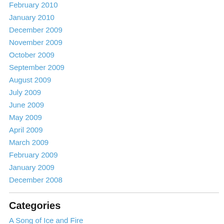February 2010
January 2010
December 2009
November 2009
October 2009
September 2009
August 2009
July 2009
June 2009
May 2009
April 2009
March 2009
February 2009
January 2009
December 2008
Categories
A Song of Ice and Fire